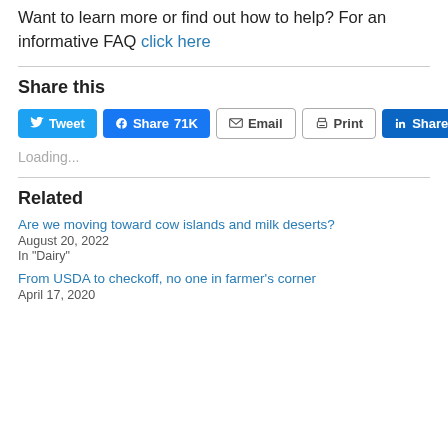Want to learn more or find out how to help? For an informative FAQ click here
Share this
[Figure (other): Social share buttons: Tweet (Twitter, blue), Share 71K (Facebook, blue), Email (outline), Print (outline), Share (LinkedIn, blue)]
Loading...
Related
Are we moving toward cow islands and milk deserts?
August 20, 2022
In "Dairy"
From USDA to checkoff, no one in farmer's corner
April 17, 2020